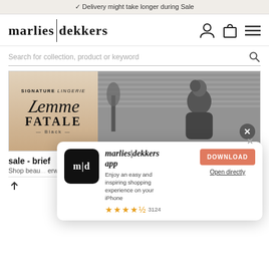Delivery might take longer during Sale
marlies|dekkers
Search for collection, product or keyword
[Figure (screenshot): Femme Fatale Black lingerie collection banner — left panel beige with 'SIGNATURE LINGERIE' and 'Femme FATALE Black' text, right panel black and white photo of woman in lingerie]
sale - brief
Shop beau... erwear is...
18 items
[Figure (screenshot): App download modal with marlies|dekkers app icon (m|d), title 'marlies|dekkers app', description 'Enjoy an easy and inspiring shopping experience on your iPhone', star rating 4.5 with 3124 reviews, DOWNLOAD button in orange-red, and 'Open directly' link. Close button (X) visible top right.]
SORT BY:
FILTERS